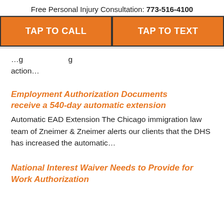Free Personal Injury Consultation: 773-516-4100
[Figure (other): Two orange call-to-action buttons: TAP TO CALL and TAP TO TEXT]
…action…
Employment Authorization Documents receive a 540-day automatic extension
Automatic EAD Extension The Chicago immigration law team of Zneimer & Zneimer alerts our clients that the DHS has increased the automatic…
National Interest Waiver Needs to Provide for Work Authorization